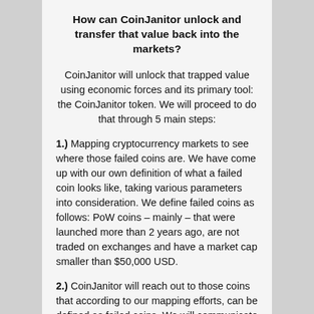How can CoinJanitor unlock and transfer that value back into the markets?
CoinJanitor will unlock that trapped value using economic forces and its primary tool: the CoinJanitor token. We will proceed to do that through 5 main steps:
1.) Mapping cryptocurrency markets to see where those failed coins are. We have come up with our own definition of what a failed coin looks like, taking various parameters into consideration. We define failed coins as follows: PoW coins – mainly – that were launched more than 2 years ago, are not traded on exchanges and have a market cap smaller than $50,000 USD.
2.) CoinJanitor will reach out to those coins that according to our mapping efforts, can be defined as failed coins. We will communicate with the creators and the communities of these projects to set up a buy-out program and have the creators turn over access to GutHub and other code repositories. The buy out program will have a deadline and will be done using the CoinJanitor token exclusively. This will prevent the emergence of pump and dump